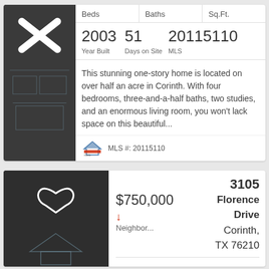| Beds | Baths | Sq.Ft. |
| --- | --- | --- |
2003 Year Built   51 Days on Site   20115110 MLS
This stunning one-story home is located on over half an acre in Corinth. With four bedrooms, three-and-a-half baths, two studies, and an enormous living room, you won't lack space on this beautiful...
MLS #: 20115110
3105
$750,000
Florence Drive
Corinth, TX 76210
Neighbor...